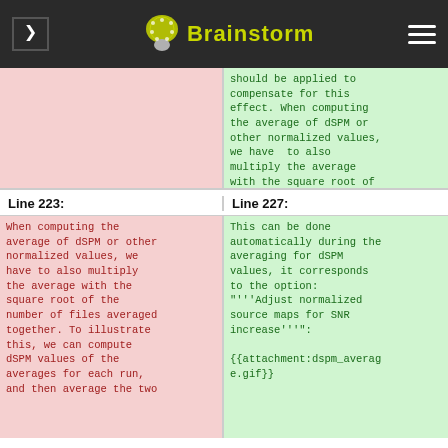Brainstorm
should be applied to compensate for this effect. When computing the average of dSPM or other normalized values, we have  to also multiply the average with the square root of the number of files averaged together.
Line 223:
Line 227:
When computing the average of dSPM or other normalized values, we have to also multiply the average with the square root of the number of files averaged together. To illustrate this, we can compute dSPM values of the averages for each run, and then average the two
This can be done automatically during the averaging for dSPM values, it corresponds to the option: "'''Adjust normalized source maps for SNR increase'''": {{attachment:dspm_average.gif}}